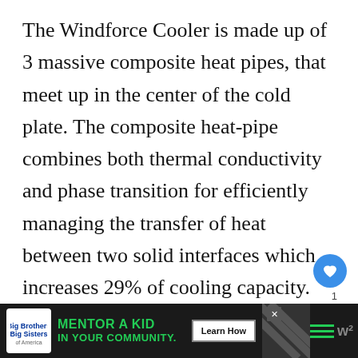The Windforce Cooler is made up of 3 massive composite heat pipes, that meet up in the center of the cold plate. The composite heat-pipe combines both thermal conductivity and phase transition for efficiently managing the transfer of heat between two solid interfaces which increases 29% of cooling capacity. These heat pipes make direct contact with the GPU for maximize heat dissipation. There is a large heat sink made up of a series of heat pipes
[Figure (other): Advertisement banner at bottom: Big Brothers Big Sisters logo, 'MENTOR A KID IN YOUR COMMUNITY.' text in green, Learn How button, diagonal stripe pattern, menu/share icons, close button]